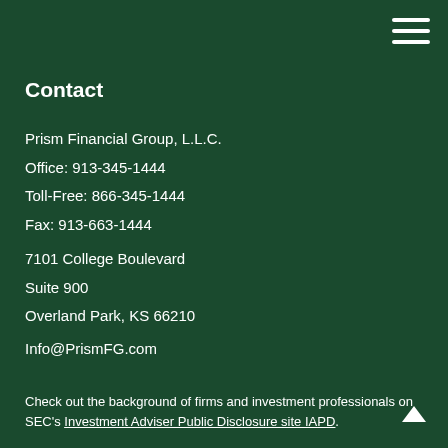Contact
Prism Financial Group, L.L.C.
Office: 913-345-1444
Toll-Free: 866-345-1444
Fax: 913-663-1444
7101 College Boulevard
Suite 900
Overland Park, KS 66210
Info@PrismFG.com
Check out the background of firms and investment professionals on SEC's Investment Adviser Public Disclosure site IAPD.